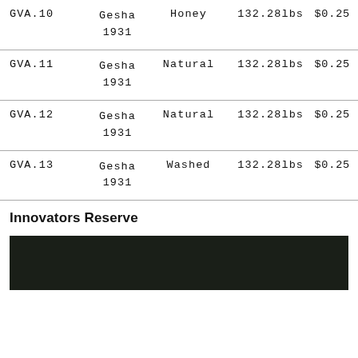| ID | Variety | Process | Weight | Price |
| --- | --- | --- | --- | --- |
| GVA.10 | Gesha 1931 | Honey | 132.28lbs | $0.25 |
| GVA.11 | Gesha 1931 | Natural | 132.28lbs | $0.25 |
| GVA.12 | Gesha 1931 | Natural | 132.28lbs | $0.25 |
| GVA.13 | Gesha 1931 | Washed | 132.28lbs | $0.25 |
Innovators Reserve
[Figure (photo): Dark/near-black image, possibly a coffee or landscape photo, partially visible at bottom of page]